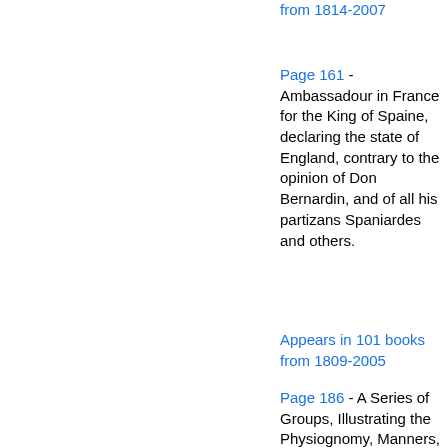from 1814-2007
Page 161 - Ambassadour in France for the King of Spaine, declaring the state of England, contrary to the opinion of Don Bernardin, and of all his partizans Spaniardes and others.
Appears in 101 books from 1809-2005
Page 186 - A Series of Groups, Illustrating the Physiognomy, Manners, and Character of the People of France and Germany. By George Lewis. Containing sixty plates suitable to Illustrate the Original